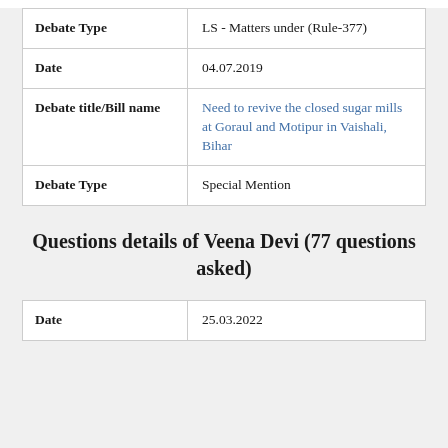| Debate Type | LS - Matters under (Rule-377) |
| Date | 04.07.2019 |
| Debate title/Bill name | Need to revive the closed sugar mills at Goraul and Motipur in Vaishali, Bihar |
| Debate Type | Special Mention |
Questions details of Veena Devi (77 questions asked)
| Date | 25.03.2022 |